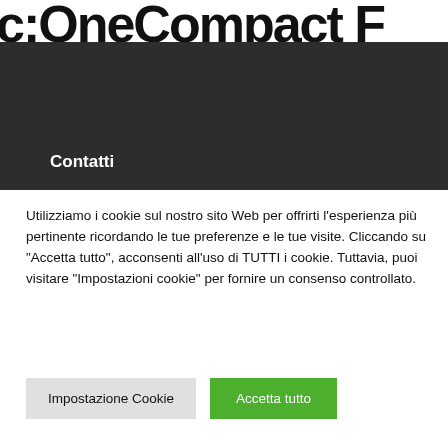c;OneCompact F
Contatti
Utilizziamo i cookie sul nostro sito Web per offrirti l'esperienza più pertinente ricordando le tue preferenze e le tue visite. Cliccando su "Accetta tutto", acconsenti all'uso di TUTTI i cookie. Tuttavia, puoi visitare "Impostazioni cookie" per fornire un consenso controllato.
Impostazione Cookie
Accetta tutto